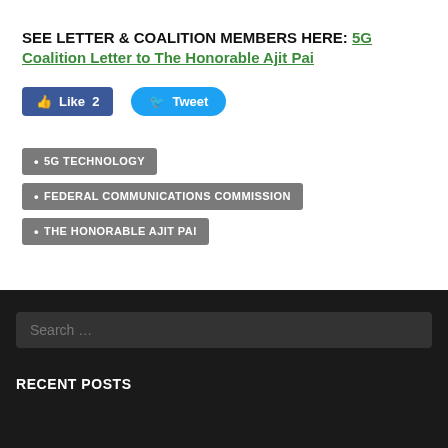SEE LETTER & COALITION MEMBERS HERE: 5G Coalition Letter to The Honorable Ajit Pai
[Figure (screenshot): Facebook Like button showing count of 2 and a Twitter Tweet button]
5G TECHNOLOGY
FEDERAL COMMUNICATIONS COMMISSION
THE HONORABLE AJIT PAI
Search ...
RECENT POSTS